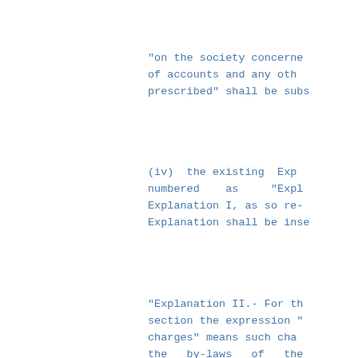“on the society concerne of accounts and any oth prescribed” shall be subs
(iv)  the existing Exp numbered as “Expl Explanation I, as so re- Explanation shall be inse
“Explanation II.- For th section the expression “ charges” means such cha the by-laws of the housing society.”;
(b)  in sub-section (3), fo recovery of land revenue substituted, namely:-
“as arrears of land reve against such order or gr